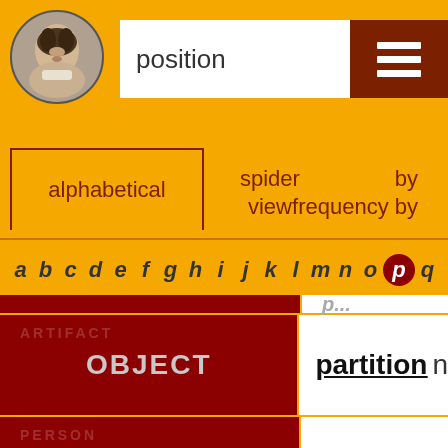[Figure (illustration): Circular portrait of Shakespeare on yellow background]
position
[Figure (other): Hamburger menu icon on dark red background]
alphabetical
spider view
by frequency by
a b c d e f g h i j k l m n o p q
| Category | Word |
| --- | --- |
| OBJECT | partition n |
| PEOPLE | partaker n |
|  | partu... |